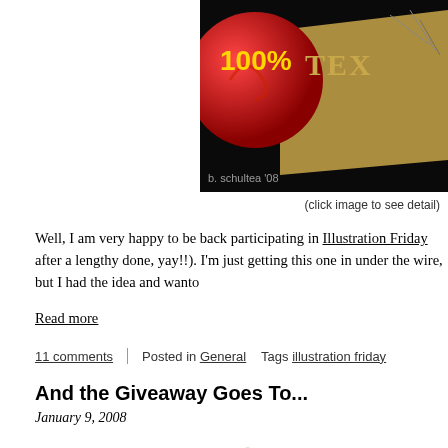[Figure (illustration): Partial view of a banner image showing '100%' text on a red circle with ornate 'TEX...' text on a dark/black background with decorative elements. Credit: b. schultea '08]
(click image to see detail)
Well, I am very happy to be back participating in Illustration Friday after a lengthy done, yay!!). I'm just getting this one in under the wire, but I had the idea and wanto
Read more
11 comments | Posted in General  Tags illustration friday
And the Giveaway Goes To...
January 9, 2008
[Figure (illustration): Dolly logo with cherry cluster illustration — red cherries with green leaves sticker-style, next to large red serif text 'Dolly' (partially visible)]